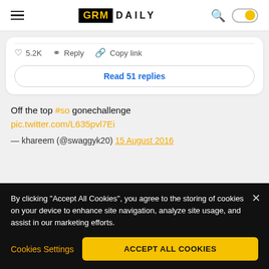GRM DAILY
♡ 5.2K  ◯ Reply  🔗 Copy link
Read 51 replies
Off the top #so gonechallenge pic.twitter.com/L635pvl7Ei — khareem (@swaggyk20) 15 August 2016
By clicking "Accept All Cookies", you agree to the storing of cookies on your device to enhance site navigation, analyze site usage, and assist in our marketing efforts.
Cookies Settings  ACCEPT ALL COOKIES